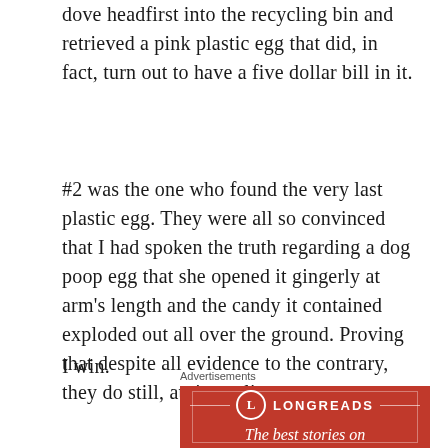dove headfirst into the recycling bin and retrieved a pink plastic egg that did, in fact, turn out to have a five dollar bill in it.
#2 was the one who found the very last plastic egg. They were all so convinced that I had spoken the truth regarding a dog poop egg that she opened it gingerly at arm's length and the candy it contained exploded out all over the ground. Proving that despite all evidence to the contrary, they do still, at times, listen to me.
I win.
[Figure (advertisement): Longreads advertisement banner with red background, circular L logo, brand name LONGREADS in caps, and tagline 'The best stories on']